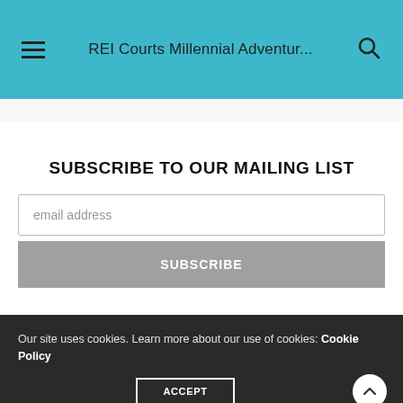REI Courts Millennial Adventur...
SUBSCRIBE TO OUR MAILING LIST
email address
SUBSCRIBE
Our site uses cookies. Learn more about our use of cookies: Cookie Policy
ACCEPT